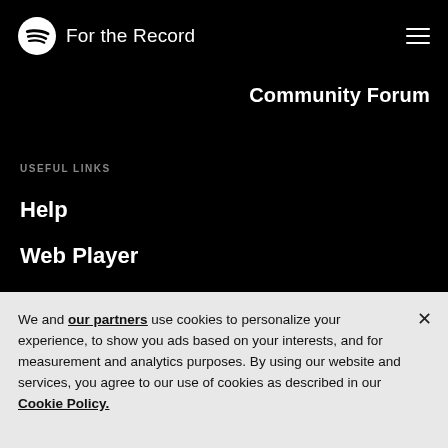For the Record
Community Forum
USEFUL LINKS
Help
Web Player
We and our partners use cookies to personalize your experience, to show you ads based on your interests, and for measurement and analytics purposes. By using our website and services, you agree to our use of cookies as described in our Cookie Policy.